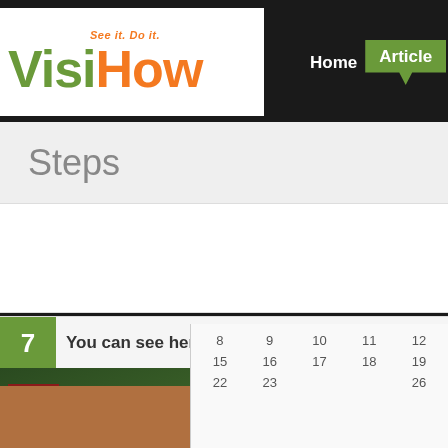[Figure (logo): VisiHow logo with tagline 'See it. Do it.' in white box, green Visi and orange How text]
Home  Articles
Steps
7  You can see here, today March 20th.
[Figure (screenshot): Video thumbnail showing white chair and dark wooden chair with paint bucket, HOW TO badge, play button, bobvila watermark. Overlay panel with text 'How to Paint Wood Furniture' on sage green background with close button.]
[Figure (screenshot): Partial calendar visible at bottom right showing dates 8-12, 15-19, 22-26]